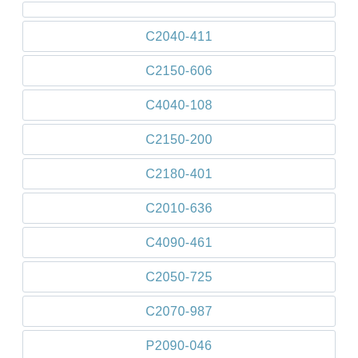C2040-411
C2150-606
C4040-108
C2150-200
C2180-401
C2010-636
C4090-461
C2050-725
C2070-987
P2090-046